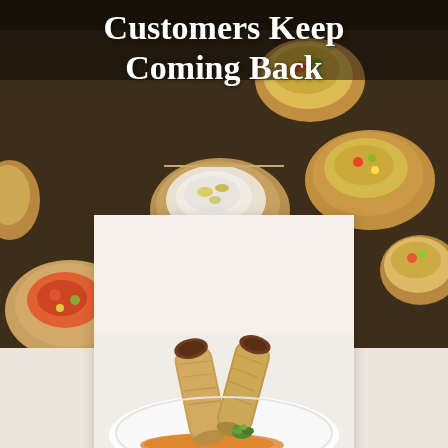[Figure (photo): Background photo of assorted bruschetta/crostini appetizers with colorful toppings on a dark wooden surface]
Customers Keep Coming Back
[Figure (photo): Foreground photo of two crispy fried spring roll / egg roll wraps standing upright on a white plate with orange sauce and green herb garnish, on a light background]